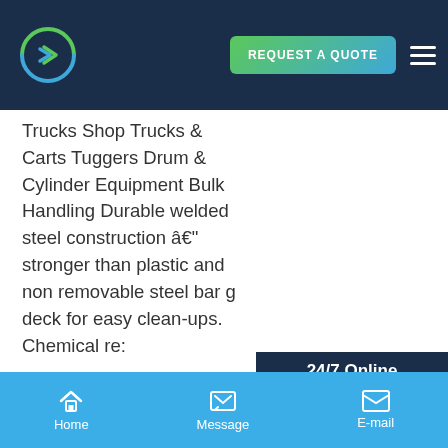REQUEST A QUOTE
Trucks Shop Trucks & Carts Tuggers Drum & Cylinder Equipment Bulk Handling Durable welded steel construction â€" stronger than plastic and non removable steel bar g deck for easy clean-ups. Chemical re:
STREET FURNITURE
2 6 Sylvia Park 1 1 6 2 30 Adelaide Str 9 0 Welcome! d e signstudio regina d ingenhoven ASPECT Main materials: steel, galvanized steel frame, recycled
[Figure (photo): Customer service representative woman with headset smiling, with 24/7 Online label and Have any requests click here. Quotation button overlay]
Home  Message  E-mail